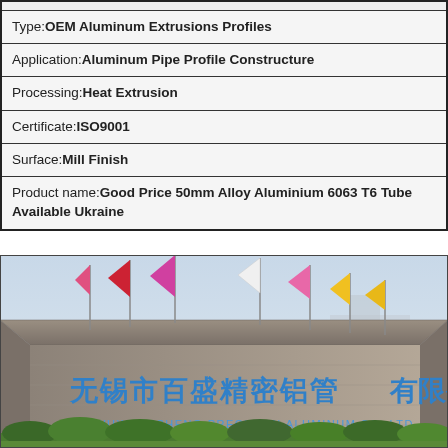| Type: OEM Aluminum Extrusions Profiles |
| Application: Aluminum Pipe Profile Constructure |
| Processing: Heat Extrusion |
| Certificate: ISO9001 |
| Surface: Mill Finish |
| Product name: Good Price 50mm Alloy Aluminium 6063 T6 Tube Available Ukraine |
[Figure (photo): Exterior photo of Wuxi Baisheng Precision Aluminum factory building with Chinese characters '无锡市百盛精密铝管有限公司' and pinyin 'WUXI BAISHENG PRECISION ALUMINUM CO.,LTD' on a stone facade, colorful flags on top, surrounded by green shrubs.]